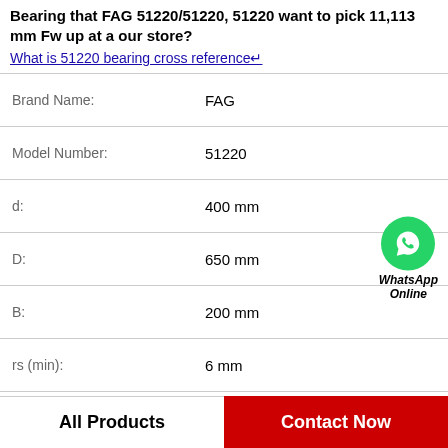Bearing that FAG 51220/51220, 51220 want to pick 11,113 mm Fw up at a our store?
What is 51220 bearing cross reference↵
| Property | Value |
| --- | --- |
| Brand Name: | FAG |
| Model Number: | 51220 |
| d: | 400 mm |
| D: | 650 mm |
| B: | 200 mm |
| rs (min): | 6 mm |
| Dynamic (Cr): | 12 mm |
| Static (Cor): | 22.3 mm |
WhatsApp Online
All Products
Contact Now